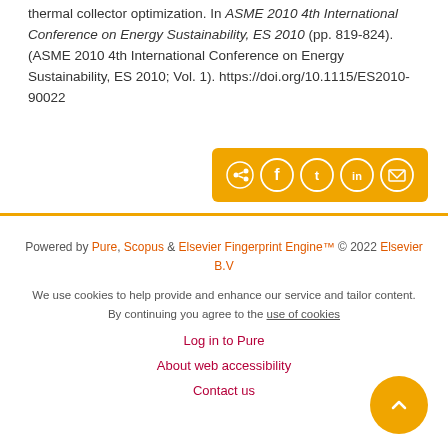thermal collector optimization. In ASME 2010 4th International Conference on Energy Sustainability, ES 2010 (pp. 819-824). (ASME 2010 4th International Conference on Energy Sustainability, ES 2010; Vol. 1). https://doi.org/10.1115/ES2010-90022
[Figure (other): Social share button bar with icons for share, Facebook, Twitter, LinkedIn, and email on an orange/gold background]
Powered by Pure, Scopus & Elsevier Fingerprint Engine™ © 2022 Elsevier B.V

We use cookies to help provide and enhance our service and tailor content. By continuing you agree to the use of cookies

Log in to Pure

About web accessibility

Contact us